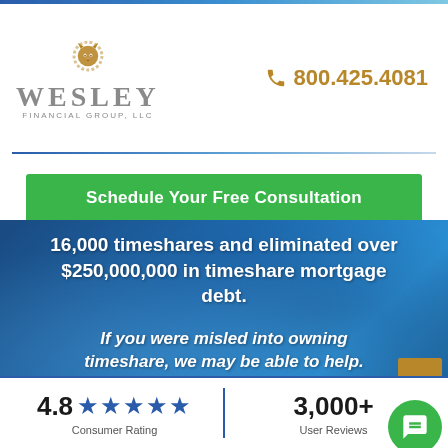[Figure (logo): Wesley Financial Group LLC logo with lion icon]
800.425.4081
Schedule Your Free Consultation
16,000 timeshares and eliminated over $250,000,000 in timeshare mortgage debt.
If you were misled into owning timeshare, we may be able to help.
4.8 ★★★★★ Consumer Rating
3,000+ User Reviews